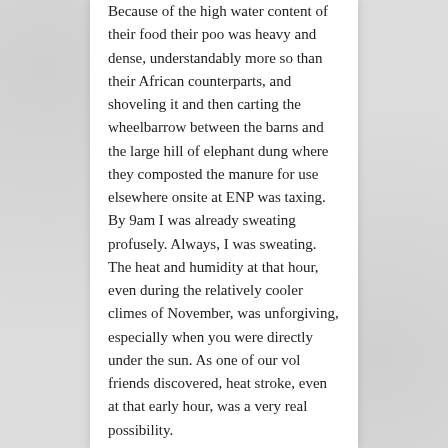Because of the high water content of their food their poo was heavy and dense, understandably more so than their African counterparts, and shoveling it and then carting the wheelbarrow between the barns and the large hill of elephant dung where they composted the manure for use elsewhere onsite at ENP was taxing. By 9am I was already sweating profusely. Always, I was sweating. The heat and humidity at that hour, even during the relatively cooler climes of November, was unforgiving, especially when you were directly under the sun. As one of our vol friends discovered, heat stroke, even at that early hour, was a very real possibility.